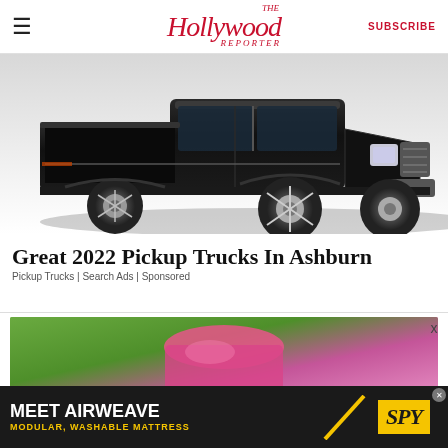The Hollywood Reporter | SUBSCRIBE
[Figure (photo): Black pickup truck (Dodge Ram style) on white/grey background, front three-quarter view from driver side, lifted with chrome wheels]
Great 2022 Pickup Trucks In Ashburn
Pickup Trucks | Search Ads | Sponsored
[Figure (photo): Cropped photo of person wearing pink/magenta athletic top, blurred green background]
[Figure (infographic): Bottom banner advertisement: MEET AIRWEAVE / MODULAR, WASHABLE MATTRESS with SPY logo in yellow box on dark background]